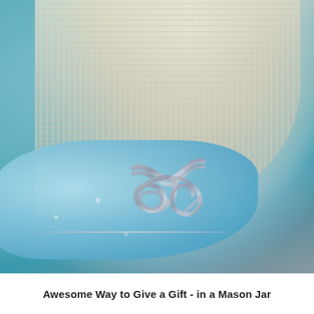[Figure (photo): Close-up photograph of a gift inside a glass Mason jar. A blue fabric pouch with silver embroidered snowflake patterns and silver rope tied in a knot is visible through the glass. Burlap fabric drapes over the top of the jar. The image is slightly out of focus giving a soft artistic look.]
Awesome Way to Give a Gift - in a Mason Jar